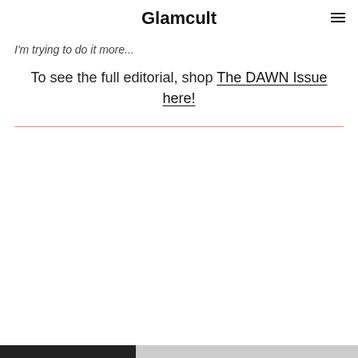Glamcult
I'm trying to do it more...
To see the full editorial, shop The DAWN Issue here!